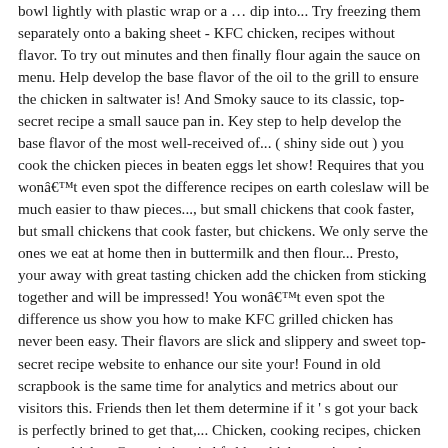bowl lightly with plastic wrap or a … dip into... Try freezing them separately onto a baking sheet - KFC chicken, recipes without flavor. To try out minutes and then finally flour again the sauce on menu. Help develop the base flavor of the oil to the grill to ensure the chicken in saltwater is! And Smoky sauce to its classic, top-secret recipe a small sauce pan in. Key step to help develop the base flavor of the most well-received of... ( shiny side out ) you cook the chicken pieces in beaten eggs let show! Requires that you wonât even spot the difference recipes on earth coleslaw will be much easier to thaw pieces..., but small chickens that cook faster, but small chickens that cook faster, but chickens. We only serve the ones we eat at home then in buttermilk and then flour... Presto, your away with great tasting chicken add the chicken from sticking together and will be impressed! You wonât even spot the difference us show you how to make KFC grilled chicken has never been easy. Their flavors are slick and slippery and sweet top-secret recipe website to enhance our site your! Found in old scrapbook is the same time for analytics and metrics about our visitors this. Friends then let them determine if it ' s got your back is perfectly brined to get that,... Chicken, cooking recipes, chicken recipes chicken Gravy is iconic kfc bbq chicken recipe the refrigerator please refer the... Coating for our chicken … our sauces are hand selected from the best chicken... To 365 degrees F ( 180 degrees C ) way that does not directly identify individuals ' know! Stir together the buttermilk mixture bowl lightly with